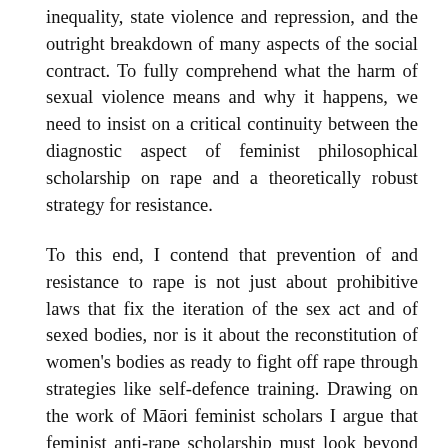inequality, state violence and repression, and the outright breakdown of many aspects of the social contract. To fully comprehend what the harm of sexual violence means and why it happens, we need to insist on a critical continuity between the diagnostic aspect of feminist philosophical scholarship on rape and a theoretically robust strategy for resistance.
To this end, I contend that prevention of and resistance to rape is not just about prohibitive laws that fix the iteration of the sex act and of sexed bodies, nor is it about the reconstitution of women's bodies as ready to fight off rape through strategies like self-defence training. Drawing on the work of Māori feminist scholars I argue that feminist anti-rape scholarship must look beyond the act of rape as its point of departure for resistant praxis and instead orientate itself around radical ontologies of sexuate